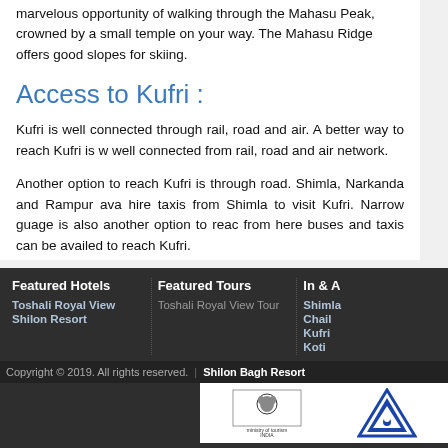marvelous opportunity of walking through the Mahasu Peak, crowned by a small temple on your way. The Mahasu Ridge offers good slopes for skiing.
Access to Kufri :
Kufri is well connected through rail, road and air. A better way to reach Kufri is well connected from rail, road and air network.
Another option to reach Kufri is through road. Shimla, Narkanda and Rampur avail hire taxis from Shimla to visit Kufri. Narrow guage is also another option to reach from here buses and taxis can be availed to reach Kufri.
Featured Hotels
Toshali Royal View
Shilon Resort
Featured Tours
Toshali Royal View Tour
In & A
Shimla
Chail
Kufri
Koti
Copyright © 2019. All rights reserved. | Shilon Bagh Resort
[Figure (logo): Ministry of Tourism India logo and AAA triangle logo]